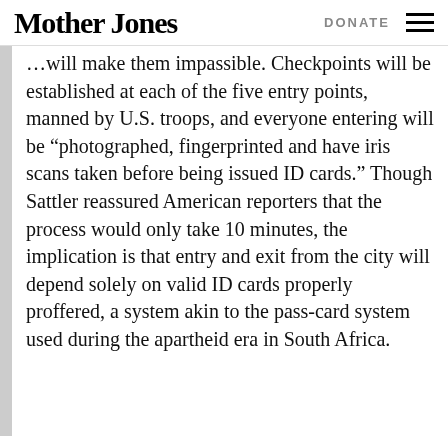Mother Jones | DONATE
...will make them impassible. Checkpoints will be established at each of the five entry points, manned by U.S. troops, and everyone entering will be “photographed, fingerprinted and have iris scans taken before being issued ID cards.” Though Sattler reassured American reporters that the process would only take 10 minutes, the implication is that entry and exit from the city will depend solely on valid ID cards properly proffered, a system akin to the pass-card system used during the apartheid era in South Africa.